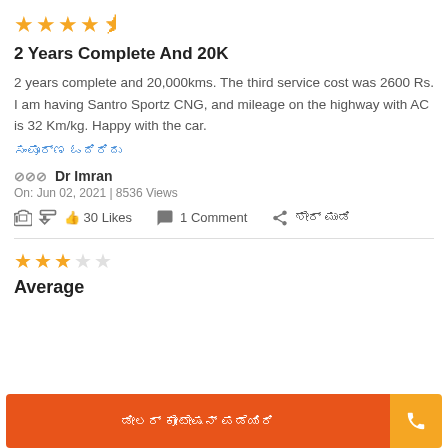[Figure (other): 4.5 star rating (4 filled, 1 half-filled star in orange)]
2 Years Complete And 20K
2 years complete and 20,000kms. The third service cost was 2600 Rs. I am having Santro Sportz CNG, and mileage on the highway with AC is 32 Km/kg. Happy with the car.
Read more (Kannada text link)
Dr Imran
On: Jun 02, 2021 | 8536 Views
30 Likes   1 Comment   Share (Kannada)
[Figure (other): 3 star rating (3 filled, 1 empty star in orange)]
Average
Button bar: Kannada text button and phone icon button